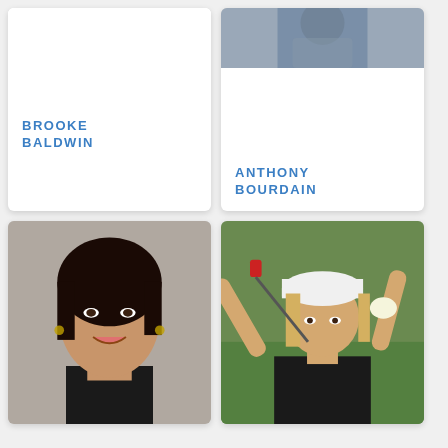[Figure (photo): Card with photo of Brooke Baldwin (partially cropped/white area shown), name label below]
BROOKE BALDWIN
[Figure (photo): Card with partial photo of Anthony Bourdain at top, name label below]
ANTHONY BOURDAIN
[Figure (photo): Card with professional headshot of a dark-haired woman smiling]
[Figure (photo): Card with photo of a blonde woman golfer mid-swing wearing white cap and black shirt]